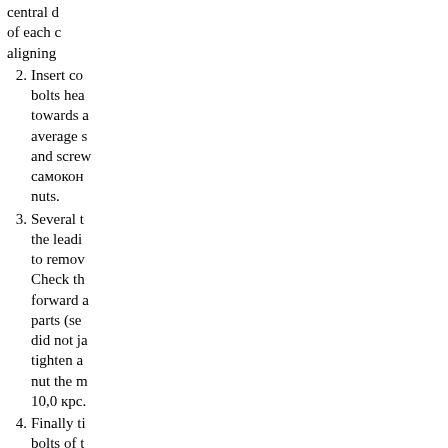central d of each c aligning
2. Insert co bolts hea towards a average s and screw самокон nuts.
3. Several t the leadi to remov Check th forward parts (se did not ja tighten a nut the m 10,0 крс.
4. Finally ti bolts of t bearing.
5. Establish and lowe